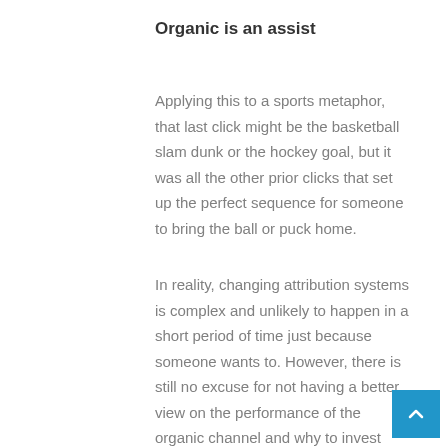Organic is an assist
Applying this to a sports metaphor, that last click might be the basketball slam dunk or the hockey goal, but it was all the other prior clicks that set up the perfect sequence for someone to bring the ball or puck home.
In reality, changing attribution systems is complex and unlikely to happen in a short period of time just because someone wants to. However, there is still no excuse for not having a better view on the performance of the organic channel and why to invest more into it. To that end,